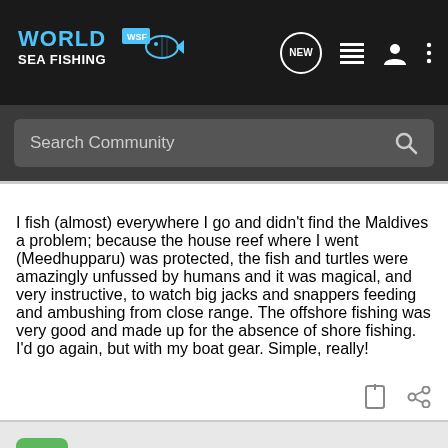[Figure (screenshot): World Sea Fishing (WSF) website navigation bar with logo, NEW button, list icon, user icon, and more options icon]
[Figure (screenshot): Search Community search bar with magnifying glass icon on dark background]
I fish (almost) everywhere I go and didn't find the Maldives a problem; because the house reef where I went (Meedhupparu) was protected, the fish and turtles were amazingly unfussed by humans and it was magical, and very instructive, to watch big jacks and snappers feeding and ambushing from close range. The offshore fishing was very good and made up for the absence of shore fishing. I'd go again, but with my boat gear. Simple, really!
Guest ·